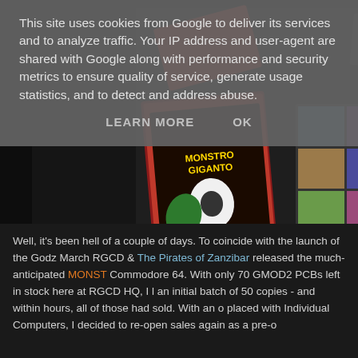This site uses cookies from Google to deliver its services and to analyze traffic. Your IP address and user-agent are shared with Google along with performance and security metrics to ensure quality of service, generate usage statistics, and to detect and address abuse.
LEARN MORE   OK
[Figure (photo): Photo of Monstro Giganto game materials on a dark background: a game manual/book with monster artwork on the cover, a grid of game cartridge covers, and partial views of other game materials and cartridges.]
Well, it's been hell of a couple of days. To coincide with the launch of the Godz March RGCD & The Pirates of Zanzibar released the much-anticipated MONST Commodore 64. With only 70 GMOD2 PCBs left in stock here at RGCD HQ, I l an initial batch of 50 copies - and within hours, all of those had sold. With an o placed with Individual Computers, I decided to re-open sales again as a pre-o